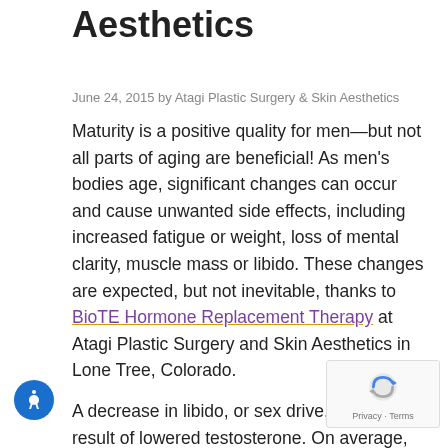Plastic Surgery and Skin Aesthetics
June 24, 2015 by Atagi Plastic Surgery & Skin Aesthetics
Maturity is a positive quality for men—but not all parts of aging are beneficial! As men's bodies age, significant changes can occur and cause unwanted side effects, including increased fatigue or weight, loss of mental clarity, muscle mass or libido. These changes are expected, but not inevitable, thanks to BioTE Hormone Replacement Therapy at Atagi Plastic Surgery and Skin Aesthetics in Lone Tree, Colorado.
A decrease in libido, or sex drive, comes as a result of lowered testosterone. On average, men begin losing testosterone at a rate of 1-3% per year after age 30. This lowered